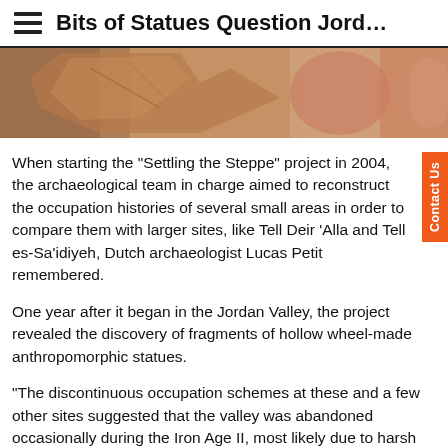Bits of Statues Question Jord…
[Figure (photo): Close-up photo of a person holding a clay or terracotta pottery fragment, brownish-orange in color, with a green background.]
When starting the "Settling the Steppe" project in 2004, the archaeological team in charge aimed to reconstruct the occupation histories of several small areas in order to compare them with larger sites, like Tell Deir 'Alla and Tell es-Sa'idiyeh, Dutch archaeologist Lucas Petit remembered.
One year after it began in the Jordan Valley, the project revealed the discovery of fragments of hollow wheel-made anthropomorphic statues.
"The discontinuous occupation schemes at these and a few other sites suggested that the valley was abandoned occasionally during the Iron Age II, most likely due to harsh wetter conditions [limited precipitation] or catastrophic events like earthquakes," Petit said, noting that inhabitants